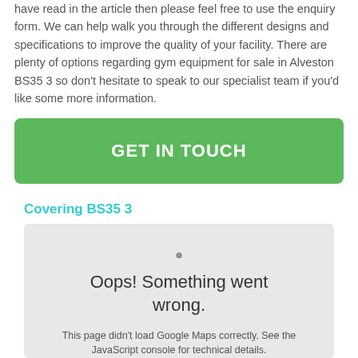have read in the article then please feel free to use the enquiry form. We can help walk you through the different designs and specifications to improve the quality of your facility. There are plenty of options regarding gym equipment for sale in Alveston BS35 3 so don't hesitate to speak to our specialist team if you'd like some more information.
GET IN TOUCH
Covering BS35 3
[Figure (other): Google Maps error state showing a grey box with an exclamation mark icon, the text 'Oops! Something went wrong.' and 'This page didn't load Google Maps correctly. See the JavaScript console for technical details.']